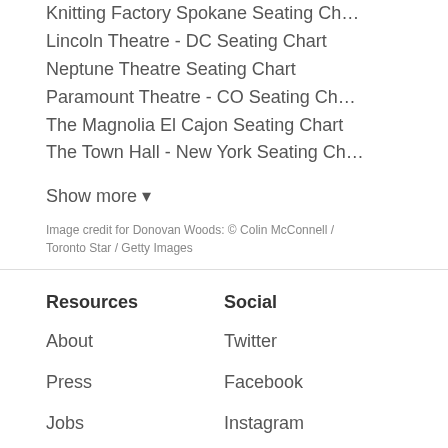Knitting Factory Spokane Seating Ch…
Lincoln Theatre - DC Seating Chart
Neptune Theatre Seating Chart
Paramount Theatre - CO Seating Ch…
The Magnolia El Cajon Seating Chart
The Town Hall - New York Seating Ch…
Show more ▾
Image credit for Donovan Woods: © Colin McConnell / Toronto Star / Getty Images
Resources
Social
About
Twitter
Press
Facebook
Jobs
Instagram